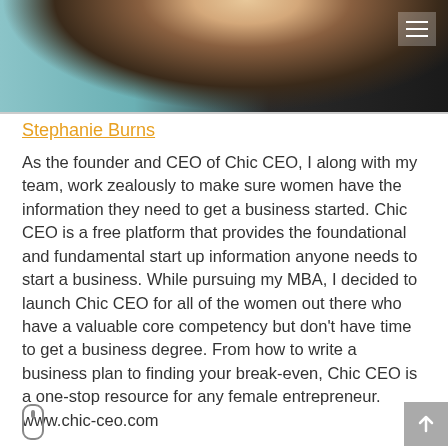[Figure (photo): Cropped photo of a woman with blonde hair wearing a dark top, upper portion visible, with a light teal/blue background]
Stephanie Burns
As the founder and CEO of Chic CEO, I along with my team, work zealously to make sure women have the information they need to get a business started. Chic CEO is a free platform that provides the foundational and fundamental start up information anyone needs to start a business. While pursuing my MBA, I decided to launch Chic CEO for all of the women out there who have a valuable core competency but don't have time to get a business degree. From how to write a business plan to finding your break-even, Chic CEO is a one-stop resource for any female entrepreneur. www.chic-ceo.com